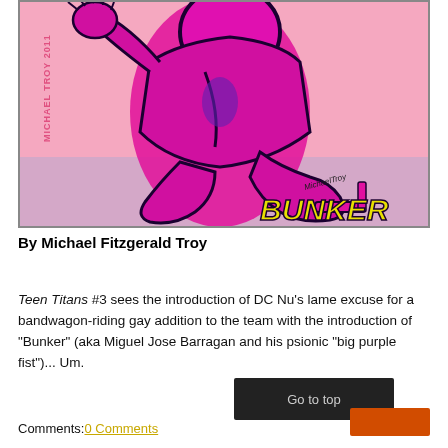[Figure (illustration): Comic book style illustration of 'Bunker' character in pink and magenta colors, wearing high heels, with text 'BUNKER' in yellow at bottom right and 'MICHAEL TROY 2011' on the left side.]
By Michael Fitzgerald Troy
Teen Titans #3 sees the introduction of DC Nu's lame excuse for a bandwagon-riding gay addition to the team with the introduction of "Bunker" (aka Miguel Jose Barragan and his psionic "big purple fist")... Um.
Comments:0 Comments
Go to top